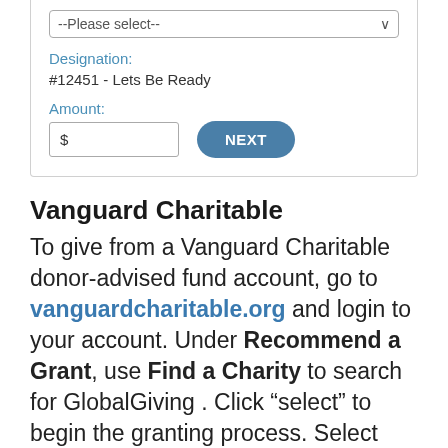[Figure (screenshot): Form card with --Please select-- dropdown, Designation field showing #12451 - Lets Be Ready, Amount field with $ input, and NEXT button]
Vanguard Charitable
To give from a Vanguard Charitable donor-advised fund account, go to vanguardcharitable.org and login to your account. Under Recommend a Grant, use Find a Charity to search for GlobalGiving . Click “select” to begin the granting process. Select “Other” from the grant purpose drop down and then